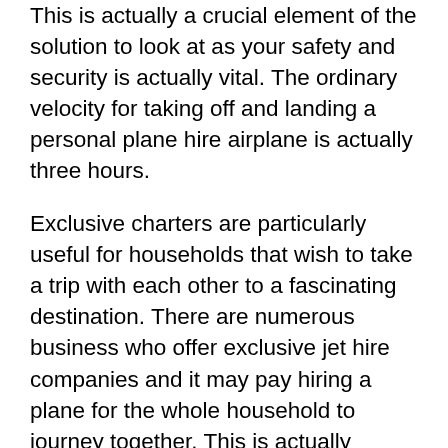This is actually a crucial element of the solution to look at as your safety and security is actually vital. The ordinary velocity for taking off and landing a personal plane hire airplane is actually three hours.
Exclusive charters are particularly useful for households that wish to take a trip with each other to a fascinating destination. There are numerous business who offer exclusive jet hire companies and it may pay hiring a plane for the whole household to journey together. This is actually specifically practical for households that can easily not all of fit into the exact same plane when taking a trip, or for cross country quests where split traveling is needed. An easy telephone call to a professional hiring firm ought to suffice to